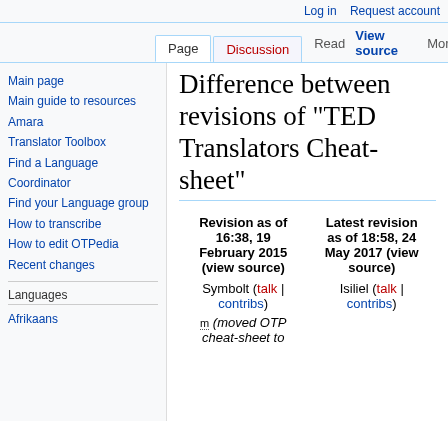Log in   Request account
Page  Discussion  Read  View source  More  Search TED
Difference between revisions of "TED Translators Cheat-sheet"
Main page
Main guide to resources
Amara
Translator Toolbox
Find a Language Coordinator
Find your Language group
How to transcribe
How to edit OTPedia
Recent changes
Languages
Afrikaans
| Revision as of 16:38, 19 February 2015 (view source) | Latest revision as of 18:58, 24 May 2017 (view source) |
| --- | --- |
| Symbolt (talk | contribs) | Isiliel (talk | contribs) |
| m (moved OTP cheat-sheet to |  |